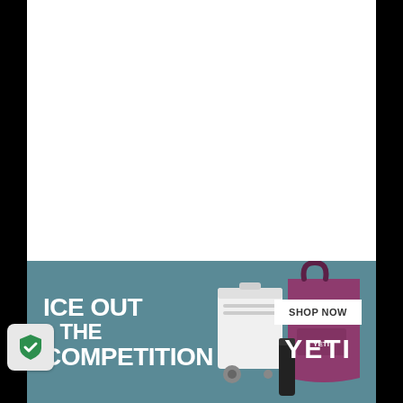[Figure (advertisement): YETI advertisement banner with teal/blue-gray background. Left side shows bold white text 'ICE OUT THE COMPETITION'. Center shows YETI products including a white cooler with wheels, a purple/magenta tote bag, and a dark thermos/bottle. Right side shows a white 'SHOP NOW' button and the YETI logo in white bold text.]
[Figure (illustration): Shield security icon — green checkmark on a light gray rounded square badge, located in the lower left corner of the page over the black background area.]